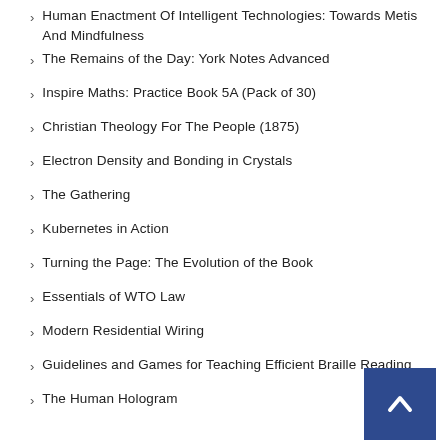Human Enactment Of Intelligent Technologies: Towards Metis And Mindfulness
The Remains of the Day: York Notes Advanced
Inspire Maths: Practice Book 5A (Pack of 30)
Christian Theology For The People (1875)
Electron Density and Bonding in Crystals
The Gathering
Kubernetes in Action
Turning the Page: The Evolution of the Book
Essentials of WTO Law
Modern Residential Wiring
Guidelines and Games for Teaching Efficient Braille Reading
The Human Hologram